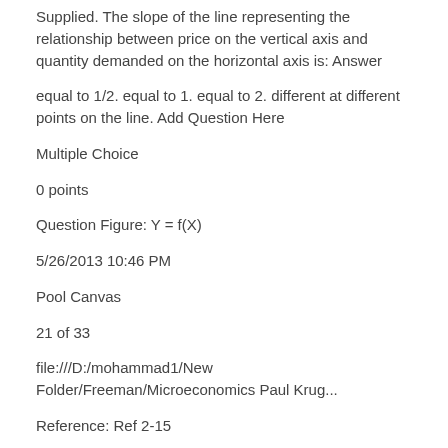Supplied. The slope of the line representing the relationship between price on the vertical axis and quantity demanded on the horizontal axis is: Answer
equal to 1/2. equal to 1. equal to 2. different at different points on the line. Add Question Here
Multiple Choice
0 points
Question Figure: Y = f(X)
5/26/2013 10:46 PM
Pool Canvas
21 of 33
file:///D:/mohammad1/New Folder/Freeman/Microeconomics Paul Krug...
Reference: Ref 2-15